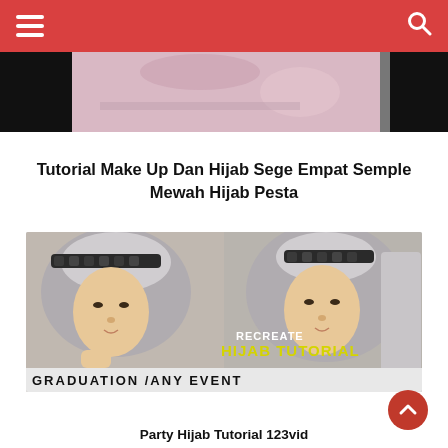Navigation header with hamburger menu and search icon
[Figure (photo): Top strip showing partial view of a previous article image — blurred/cropped pink and gray toned photo]
Tutorial Make Up Dan Hijab Sege Empat Semple Mewah Hijab Pesta
[Figure (screenshot): Video thumbnail showing two women wearing gray hijabs with black lace headband detail. Text overlay reads RECREATE HIJAB TUTORIAL and GRADUATION /ANY EVENT]
Party Hijab Tutorial 123vid